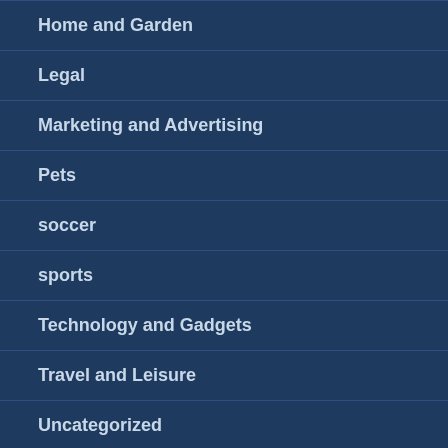Home and Garden
Legal
Marketing and Advertising
Pets
soccer
sports
Technology and Gadgets
Travel and Leisure
Uncategorized
RECENT POSTS